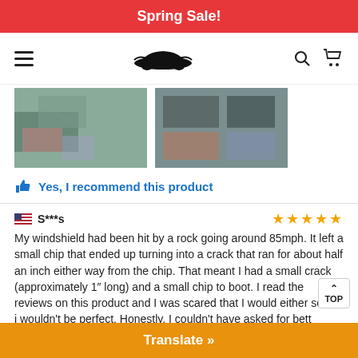Spring Sale!
[Figure (screenshot): Navigation bar with hamburger menu, car logo, search and cart icons]
[Figure (photo): Two product review photos side by side showing automotive parts or storage bins]
Yes, I recommend this product
S***s
My windshield had been hit by a rock going around 85mph. It left a small chip that ended up turning into a crack that ran for about half an inch either way from the chip. That meant I had a small crack (approximately 1″ long) and a small chip to boot. I read the reviews on this product and I was scared that I would either screw i wouldn't be perfect. Honestly, I couldn't have asked for bett results. The crack is invisible now, unless you REALLY try to a
Translate »